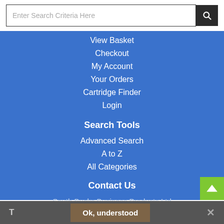[Figure (screenshot): Search bar with text input placeholder 'Enter Search Criteria Here' and a dark search button with magnifier icon]
View Basket
Checkout
My Account
Your Orders
Cartridge Finder
Login
Search Tools
Advanced Search
A to Z
All Categories
Contact Us
South Bucks Business Products Ltd
Ok, understood